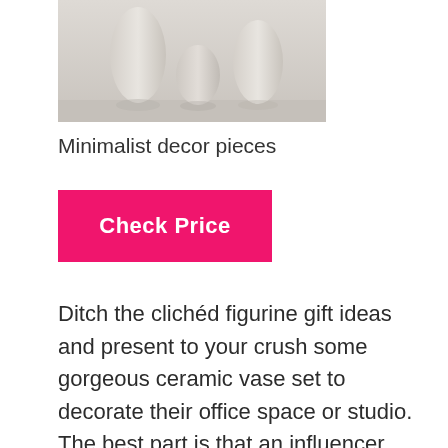[Figure (photo): Three minimalist ceramic vases in neutral cream/beige tones arranged on a white surface, viewed from slightly above]
Minimalist decor pieces
[Figure (other): Pink/magenta button with text 'Check Price']
Ditch the clichéd figurine gift ideas and present to your crush some gorgeous ceramic vase set to decorate their office space or studio. The best part is that an influencer wouldn't just have to keep it as an idle showpiece, but can